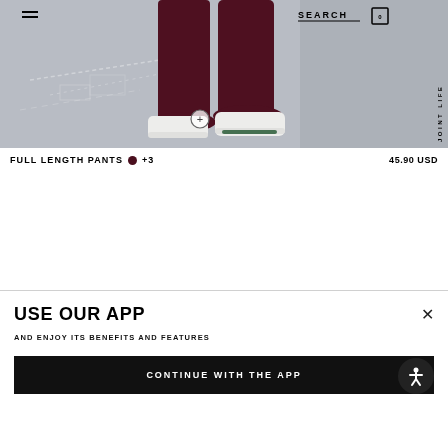[Figure (screenshot): E-commerce product page screenshot showing a person's legs wearing dark burgundy wide-leg pants with white sneakers on a grey concrete floor background. Navigation bar at top with hamburger menu, SEARCH, cart icon (0), and JOINT LIFE vertical text. A plus (+) button overlay on the image.]
FULL LENGTH PANTS ●+3  45.90 USD
USE OUR APP
AND ENJOY ITS BENEFITS AND FEATURES
CONTINUE WITH THE APP